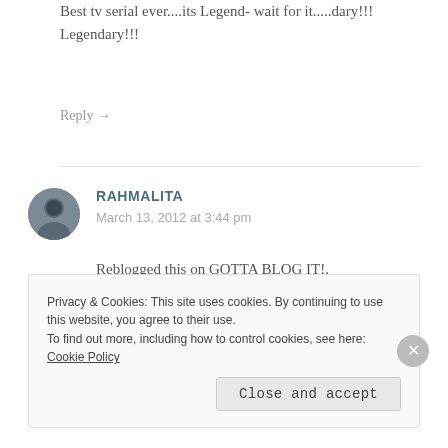Best tv serial ever....its Legend- wait for it.....dary!!!Legendary!!!
Reply →
RAHMALITA
March 13, 2012 at 3:44 pm
Reblogged this on GOTTA BLOG IT!.
Reply →
Privacy & Cookies: This site uses cookies. By continuing to use this website, you agree to their use. To find out more, including how to control cookies, see here: Cookie Policy
Close and accept